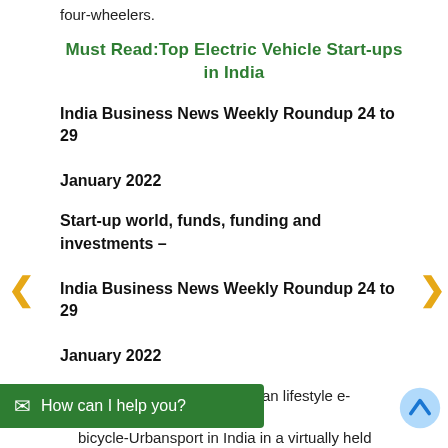four-wheelers.
Must Read:Top Electric Vehicle Start-ups in India
India Business News Weekly Roundup 24 to 29 January 2022
Start-up world, funds, funding and investments – India Business News Weekly Roundup 24 to 29 January 2022
VAAN Electric Moto, an Indian lifestyle e- launched an electric bicycle-Urbansport in India in a virtually held
How can I help you?